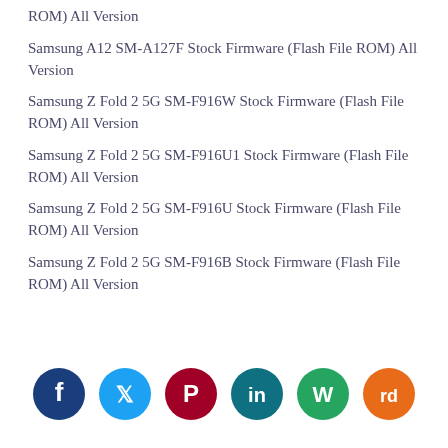ROM) All Version
Samsung A12 SM-A127F Stock Firmware (Flash File ROM) All Version
Samsung Z Fold 2 5G SM-F916W Stock Firmware (Flash File ROM) All Version
Samsung Z Fold 2 5G SM-F916U1 Stock Firmware (Flash File ROM) All Version
Samsung Z Fold 2 5G SM-F916U Stock Firmware (Flash File ROM) All Version
Samsung Z Fold 2 5G SM-F916B Stock Firmware (Flash File ROM) All Version
[Figure (infographic): Row of 6 social media share icons: Facebook (dark blue), Twitter (light blue), Pinterest (dark red), LinkedIn (teal/blue), WhatsApp (green), Reddit (orange)]